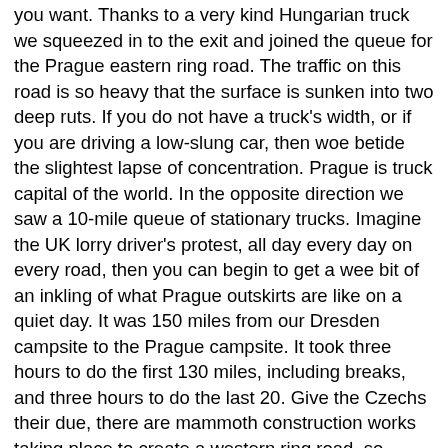you want.  Thanks to a very kind Hungarian truck we squeezed in to the exit and joined the queue for the Prague eastern ring road. The traffic on this road is so heavy that the surface is sunken into two deep ruts.  If you do not have a truck's width, or if you are driving a low-slung car, then woe betide the slightest lapse of concentration.  Prague is truck capital of the world. In the opposite direction we saw a 10-mile queue of stationary trucks.  Imagine the UK lorry driver's protest, all day every day on every road, then you can begin to get a wee bit of an inkling of what Prague outskirts are like on a quiet day.  It was 150 miles from our Dresden campsite to the Prague campsite.  It took three hours to do the first 130 miles, including breaks, and three hours to do the last 20.  Give the Czechs their due, there are mammoth construction works taking place to create a western ring road, so hopefully in a year or so things will improve.  Meantime, it's probably easier to drive through the pedestrianised centre of Prague!
The campsite, when we finally reached it, was great.  Super new facilities, good spacious pitches, indoor and outdoor pools, friendly English speaking owner and wi-fi which was strong enough to be able to use in the